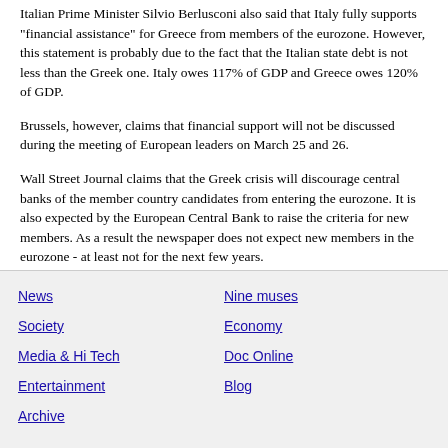Italian Prime Minister Silvio Berlusconi also said that Italy fully supports "financial assistance" for Greece from members of the eurozone. However, this statement is probably due to the fact that the Italian state debt is not less than the Greek one. Italy owes 117% of GDP and Greece owes 120% of GDP.
Brussels, however, claims that financial support will not be discussed during the meeting of European leaders on March 25 and 26.
Wall Street Journal claims that the Greek crisis will discourage central banks of the member country candidates from entering the eurozone. It is also expected by the European Central Bank to raise the criteria for new members. As a result the newspaper does not expect new members in the eurozone - at least not for the next few years.
That news did helpful for the EUR that much and it fell to 1,353 USD. The same applied for the Athens Stock Exchange, which closed at 2,049.4 points with a loss of 3.11%. In England, the FTSE 100 closed at a 21-month record high of 5650.13 points. Dow Jones also did well this week and rose 1.4% to 10,741.9 points.
News
Nine muses
Society
Economy
Media & Hi Tech
Doc Online
Entertainment
Blog
Archive